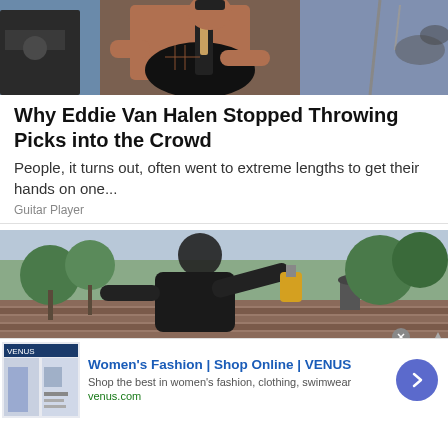[Figure (photo): Shirtless male guitarist performing on stage, playing a black electric guitar, with another person visible on the left side wearing a jacket with a military-style patch]
Why Eddie Van Halen Stopped Throwing Picks into the Crowd
People, it turns out, often went to extreme lengths to get their hands on one...
Guitar Player
[Figure (photo): Person in a black hoodie on a rooftop using a tool, with trees in background]
[Figure (screenshot): Advertisement: Women's Fashion | Shop Online | VENUS - Shop the best in women's fashion, clothing, swimwear - venus.com]